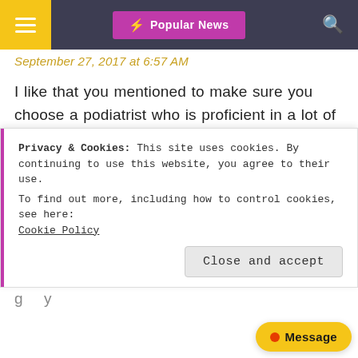≡  ⚡ Popular News  🔍
September 27, 2017 at 6:57 AM
I like that you mentioned to make sure you choose a podiatrist who is proficient in a lot of different treatment techniques. It makes sense that everybody is different, and many people might require different treatments. I need to find a podiatrist, because I suffer from heel pain every day, and I want to relieve it. I will keep this in mind, thanks.
Privacy & Cookies: This site uses cookies. By continuing to use this website, you agree to their use.
To find out more, including how to control cookies, see here:
Cookie Policy
[Close and accept]
g y